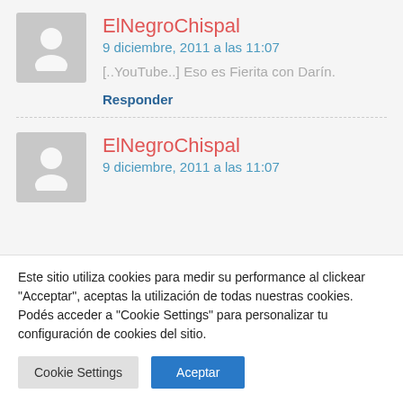ElNegroChispal
9 diciembre, 2011 a las 11:07
[..YouTube..] Eso es Fierita con Darín.
Responder
ElNegroChispal
9 diciembre, 2011 a las 11:07
Este sitio utiliza cookies para medir su performance al clickear "Acceptar", aceptas la utilización de todas nuestras cookies. Podés acceder a "Cookie Settings" para personalizar tu configuración de cookies del sitio.